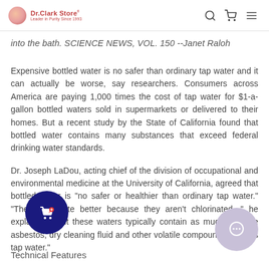Dr. Clark Store — Leader in Purity Since 1993
into the bath.  SCIENCE NEWS, VOL. 150 --Janet Raloh
Expensive bottled water is no safer than ordinary tap water and it can actually be worse, say researchers. Consumers across America are paying 1,000 times the cost of tap water for $1-a-gallon bottled waters sold in supermarkets or delivered to their homes. But a recent study by the State of California found that bottled water contains many substances that exceed federal drinking water standards.
Dr. Joseph LaDou, acting chief of the division of occupational and environmental medicine at the University of California, agreed that bottled water is "no safer or healthier than ordinary tap water." "They just taste better because they aren't chlorinated, " he explained. "But these waters typically contain as much or more asbestos, dry cleaning fluid and other volatile compounds as does tap water."
Technical Features